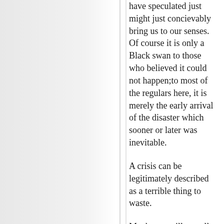have speculated just might just concievably bring us to our senses. Of course it is only a Black swan to those who believed it could not happen;to most of the regulars here, it is merely the early arrival of the disaster which sooner or later was inevitable.
A crisis can be legitimately described as a terrible thing to waste.
Maybe we will actually learn something collectively from